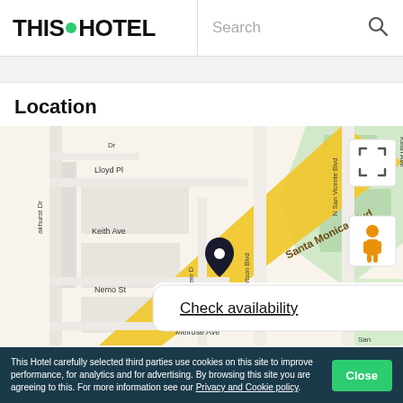THIS HOTEL | Search
Location
[Figure (map): Street map showing Santa Monica Blvd area with hotel location marker near N La Peer Dr. Shows Lloyd Pl, Keith Ave, Nemo St, N Robertson Blvd, N San Vicente Blvd, Melrose Ave. Has expand icon and street view person icon. Overlay shows 'Check availability $320' button.]
This Hotel carefully selected third parties use cookies on this site to improve performance, for analytics and for advertising. By browsing this site you are agreeing to this. For more information see our Privacy and Cookie policy.